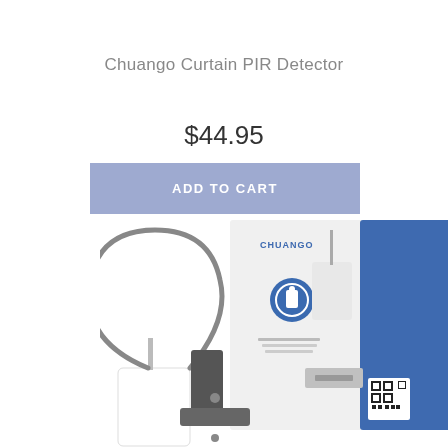Chuango Curtain PIR Detector
$44.95
ADD TO CART
[Figure (photo): Chuango product box and curtain PIR detector device shown together, with a wireless sensor, mounting bracket, and flexible antenna visible in the foreground.]